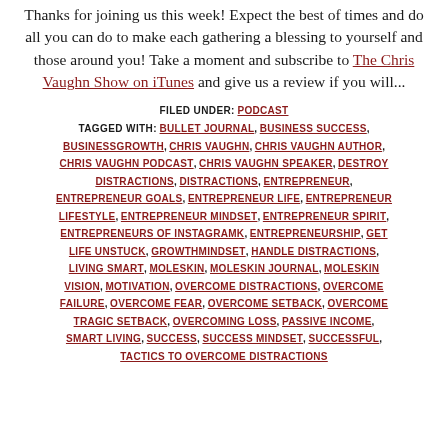Thanks for joining us this week! Expect the best of times and do all you can do to make each gathering a blessing to yourself and those around you! Take a moment and subscribe to The Chris Vaughn Show on iTunes and give us a review if you will...
FILED UNDER: PODCAST
TAGGED WITH: BULLET JOURNAL, BUSINESS SUCCESS, BUSINESSGROWTH, CHRIS VAUGHN, CHRIS VAUGHN AUTHOR, CHRIS VAUGHN PODCAST, CHRIS VAUGHN SPEAKER, DESTROY DISTRACTIONS, DISTRACTIONS, ENTREPRENEUR, ENTREPRENEUR GOALS, ENTREPRENEUR LIFE, ENTREPRENEUR LIFESTYLE, ENTREPRENEUR MINDSET, ENTREPRENEUR SPIRIT, ENTREPRENEURS OF INSTAGRAMK, ENTREPRENEURSHIP, GET LIFE UNSTUCK, GROWTHMINDSET, HANDLE DISTRACTIONS, LIVING SMART, MOLESKIN, MOLESKIN JOURNAL, MOLESKIN VISION, MOTIVATION, OVERCOME DISTRACTIONS, OVERCOME FAILURE, OVERCOME FEAR, OVERCOME SETBACK, OVERCOME TRAGIC SETBACK, OVERCOMING LOSS, PASSIVE INCOME, SMART LIVING, SUCCESS, SUCCESS MINDSET, SUCCESSFUL, TACTICS TO OVERCOME DISTRACTIONS